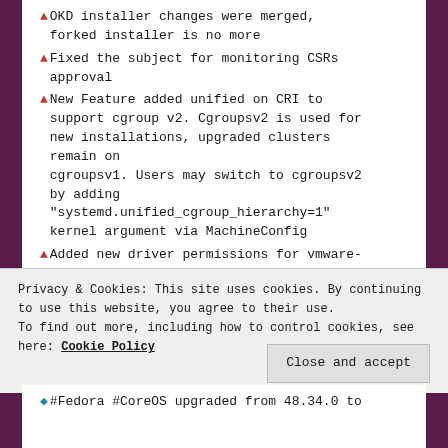▲ OKD installer changes were merged, forked installer is no more
▲ Fixed the subject for monitoring CSRs approval
▲ New Feature added unified on CRI to support cgroup v2. Cgroupsv2 is used for new installations, upgraded clusters remain on cgroupsv1. Users may switch to cgroupsv2 by adding "systemd.unified_cgroup_hierarchy=1" kernel argument via MachineConfig
▲ Added new driver permissions for vmware-vsphere-csi-operators and RedHat #Ceph integrations
Privacy & Cookies: This site uses cookies. By continuing to use this website, you agree to their use. To find out more, including how to control cookies, see here: Cookie Policy
◆ #Fedora #CoreOS upgraded from 48.34.0 to